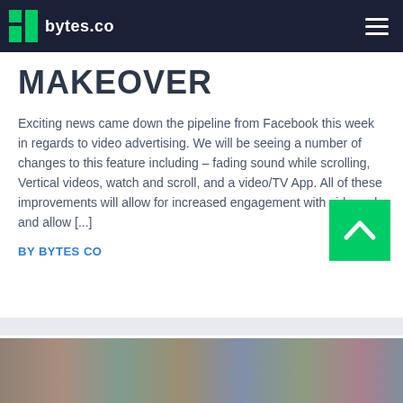bytes.co
MAKEOVER
Exciting news came down the pipeline from Facebook this week in regards to video advertising. We will be seeing a number of changes to this feature including – fading sound while scrolling, Vertical videos, watch and scroll, and a video/TV App. All of these improvements will allow for increased engagement with video ads and allow [...]
BY BYTES CO
[Figure (other): Scroll-to-top button (green square with upward chevron arrow)]
[Figure (photo): Bottom partial image strip, appears to be a group photo or colorful editorial image]